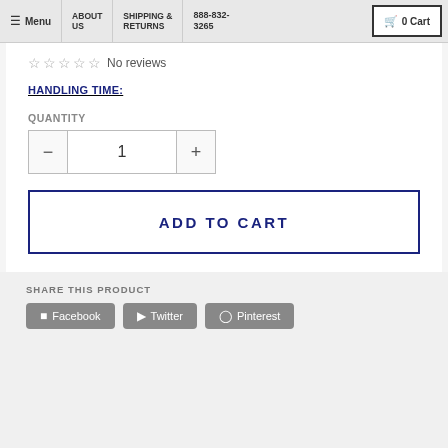Menu | ABOUT US | SHIPPING & RETURNS | 888-832-3265 | 0 Cart
☆ ☆ ☆ ☆ ☆ No reviews
HANDLING TIME:
QUANTITY
1
ADD TO CART
SHARE THIS PRODUCT
Facebook
Twitter
Pinterest